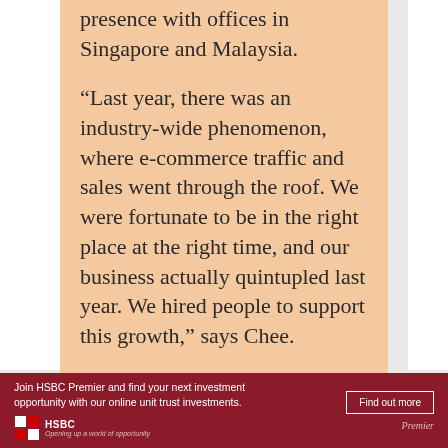presence with offices in Singapore and Malaysia.
“Last year, there was an industry-wide phenomenon, where e-commerce traffic and sales went through the roof. We were fortunate to be in the right place at the right time, and our business actually quintupled last year. We hired people to support this growth,” says Chee.
With the company experiencing explosive growth in terms of
[Figure (other): HSBC Premier advertisement banner. Dark red background. Text: 'Join HSBC Premier and find your next investment opportunity with our online unit trust investments.' Button: 'Find out more'. HSBC logo with hexagon symbol and tagline 'Opening up a world of opportunity'. 'Premier' text on right.]